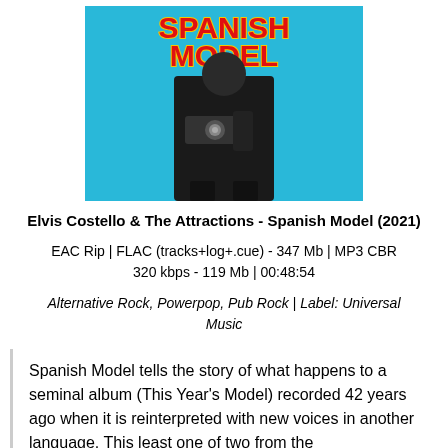[Figure (photo): Album cover for 'Spanish Model' by Elvis Costello & The Attractions. Cyan/blue background with 'SPANISH MODEL' text in red with yellow outline at top. A figure in a dark suit holding a vintage movie camera in the center.]
Elvis Costello & The Attractions - Spanish Model (2021)
EAC Rip | FLAC (tracks+log+.cue) - 347 Mb | MP3 CBR 320 kbps - 119 Mb | 00:48:54
Alternative Rock, Powerpop, Pub Rock | Label: Universal Music
Spanish Model tells the story of what happens to a seminal album (This Year's Model) recorded 42 years ago when it is reinterpreted with new voices in another language. This least one of two from the